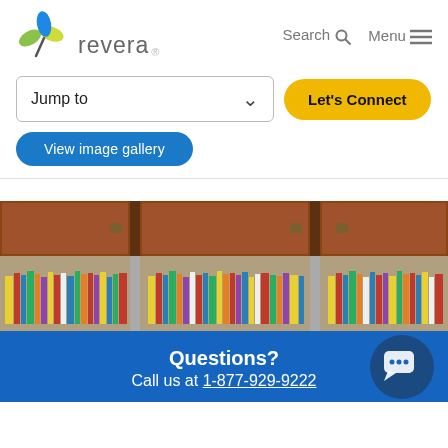[Figure (logo): Revera logo with leaf/plant icon in blue and green, company name 'revera' in grey text]
Search   Menu
Jump to
Let's Connect
View image gallery
[Figure (photo): Bookcase with wooden cabinets above and rows of books/DVDs on shelves below]
Questions?
Call us at 1-877-929-9222